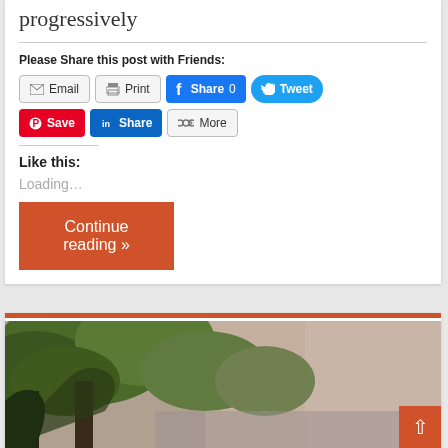progressively
Please Share this post with Friends:
[Figure (screenshot): Social sharing buttons: Email, Print, Facebook Share 0, Twitter Tweet, Pinterest Save, LinkedIn Share, More]
Like this:
Loading...
Continue reading »
[Figure (photo): Photo of trees with grey sky background, partially visible at bottom of page]